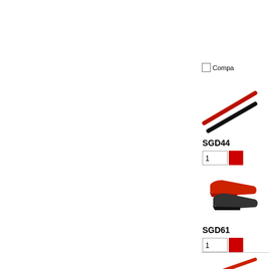[Figure (screenshot): Product listing page showing three product rows. Each row has a product image on the left column and product details (ID, quantity input, add button, real time link, compare checkbox) on the right column. Products shown: SGD44, SGD61, SGD47. The left panel is mostly white/empty (cut off). Each row has a Compare checkbox partially visible.]
Compa
[Figure (photo): Two slim probe/test lead accessories, one black and one red, crossed diagonally]
SGD44
1
Real time c
Compa
[Figure (photo): Two alligator clips/crocodile clips, one red and one black/grey, overlapping]
SGD61
1
Real time c
Compa
[Figure (photo): A red test probe/pen with black connector tip accessories]
SGD47
1
Real time c
Compa